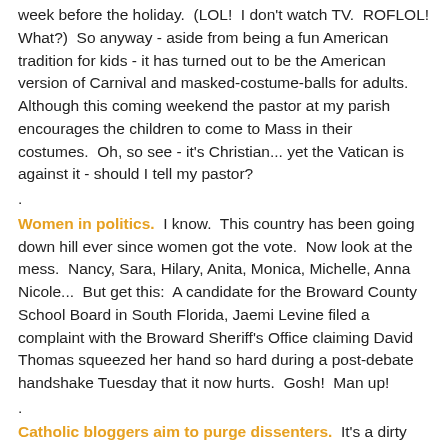week before the holiday. (LOL! I don't watch TV. ROFLOL! What?) So anyway - aside from being a fun American tradition for kids - it has turned out to be the American version of Carnival and masked-costume-balls for adults. Although this coming weekend the pastor at my parish encourages the children to come to Mass in their costumes. Oh, so see - it's Christian... yet the Vatican is against it - should I tell my pastor?
.
Women in politics. I know. This country has been going down hill ever since women got the vote. Now look at the mess. Nancy, Sara, Hilary, Anita, Monica, Michelle, Anna Nicole... But get this: A candidate for the Broward County School Board in South Florida, Jaemi Levine filed a complaint with the Broward Sheriff's Office claiming David Thomas squeezed her hand so hard during a post-debate handshake Tuesday that it now hurts. Gosh! Man up!
.
Catholic bloggers aim to purge dissenters. It's a dirty job but someones got to do it - and dirty, filthy, liberal CINOs better run scared. We're coming for you slime-balls. What if that was why we blog? I know... let them think it.